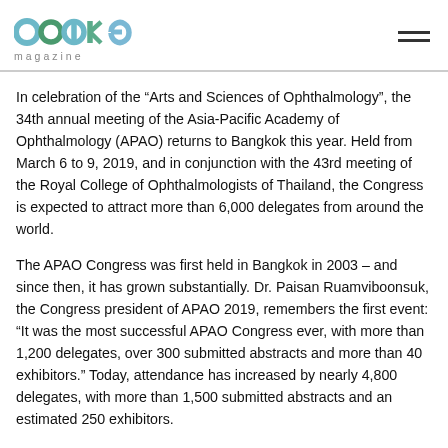cake magazine
In celebration of the “Arts and Sciences of Ophthalmology”, the 34th annual meeting of the Asia-Pacific Academy of Ophthalmology (APAO) returns to Bangkok this year. Held from March 6 to 9, 2019, and in conjunction with the 43rd meeting of the Royal College of Ophthalmologists of Thailand, the Congress is expected to attract more than 6,000 delegates from around the world.
The APAO Congress was first held in Bangkok in 2003 – and since then, it has grown substantially. Dr. Paisan Ruamviboonsuk, the Congress president of APAO 2019, remembers the first event: “It was the most successful APAO Congress ever, with more than 1,200 delegates, over 300 submitted abstracts and more than 40 exhibitors.” Today, attendance has increased by nearly 4,800 delegates, with more than 1,500 submitted abstracts and an estimated 250 exhibitors.
This success is a credit to APAO’s scientific program – which Dr.